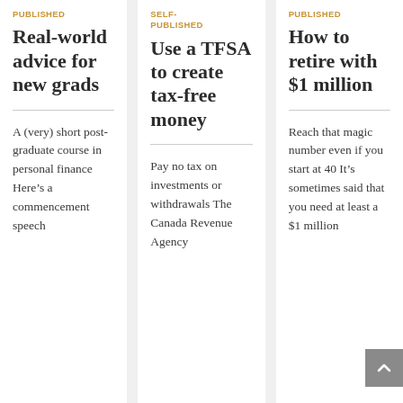PUBLISHED
Real-world advice for new grads
A (very) short post-graduate course in personal finance Here’s a commencement speech
SELF-PUBLISHED
Use a TFSA to create tax-free money
Pay no tax on investments or withdrawals The Canada Revenue Agency
PUBLISHED
How to retire with $1 million
Reach that magic number even if you start at 40 It’s sometimes said that you need at least a $1 million